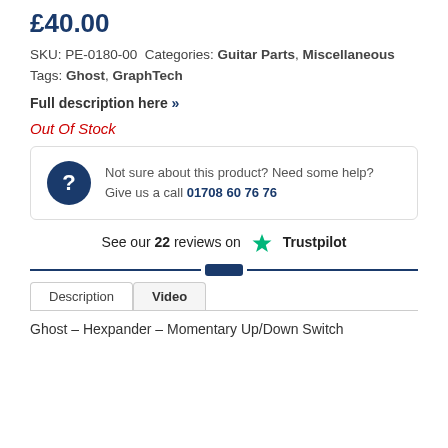£40.00
SKU: PE-0180-00 Categories: Guitar Parts, Miscellaneous Tags: Ghost, GraphTech
Full description here »
Out Of Stock
Not sure about this product? Need some help? Give us a call 01708 60 76 76
See our 22 reviews on Trustpilot
Description | Video
Ghost – Hexpander – Momentary Up/Down Switch